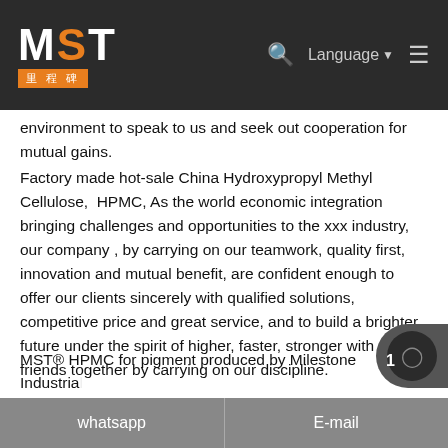[Figure (logo): MST logo with Chinese characters on dark navbar background, with search icon, Language dropdown, and hamburger menu on the right]
environment to speak to us and seek out cooperation for mutual gains.
Factory made hot-sale China Hydroxypropyl Methyl Cellulose,  HPMC, As the world economic integration bringing challenges and opportunities to the xxx industry, our company , by carrying on our teamwork, quality first, innovation and mutual benefit, are confident enough to offer our clients sincerely with qualified solutions, competitive price and great service, and to build a brighter future under the spirit of higher, faster, stronger with our friends together by carrying on our discipline.
MST® HPMC for pigment produced by Milestone Industrial
whatsapp    E-mail